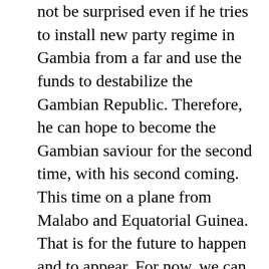not be surprised even if he tries to install new party regime in Gambia from a far and use the funds to destabilize the Gambian Republic. Therefore, he can hope to become the Gambian saviour for the second time, with his second coming. This time on a plane from Malabo and Equatorial Guinea. That is for the future to happen and to appear. For now, we can certainly know that the Jammeh Regime, ended where it started, with looting the state coffers in the sake bringing down a dictator in 1994. While installing himself as another one.
Now, it is time for the International Community to support Barrow, give him space to build together create and support peaceful transition of power from